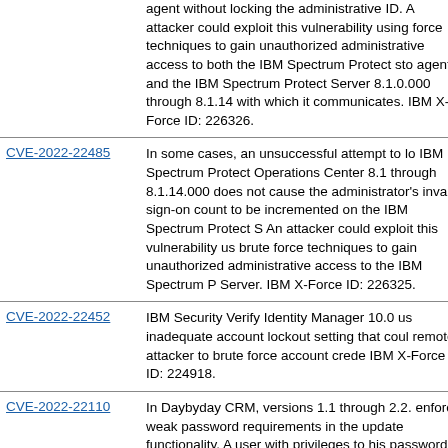| CVE | Description |
| --- | --- |
| (continuing) | agent without locking the administrative ID. A attacker could exploit this vulnerability using force techniques to gain unauthorized administrative access to both the IBM Spectrum Protect storage agent and the IBM Spectrum Protect Server 8.1.0.000 through 8.1.14 with which it communicates. IBM X-Force ID: 226326. |
| CVE-2022-22485 | In some cases, an unsuccessful attempt to log into IBM Spectrum Protect Operations Center 8.1.0.000 through 8.1.14.000 does not cause the administrator's invalid sign-on count to be incremented on the IBM Spectrum Protect Server. An attacker could exploit this vulnerability using brute force techniques to gain unauthorized administrative access to the IBM Spectrum Protect Server. IBM X-Force ID: 226325. |
| CVE-2022-22452 | IBM Security Verify Identity Manager 10.0 uses an inadequate account lockout setting that could allow a remote attacker to brute force account credentials. IBM X-Force ID: 224918. |
| CVE-2022-22110 | In Daybyday CRM, versions 1.1 through 2.2.0 enforce weak password requirements in the password update functionality. A user with privileges to update his password could change it to a weak password, such as those with a length of a single character. This may allow an attacker to brute-force users’ passwords with minimal to no... |